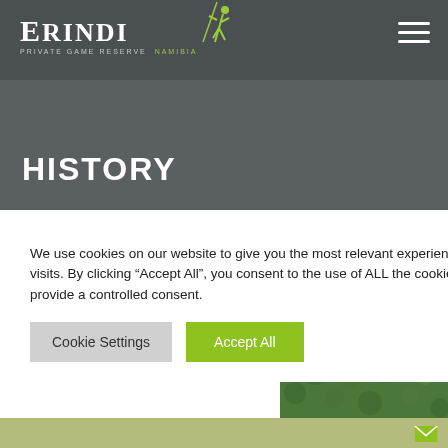Erindi Private Game Reserve Namibia
HISTORY
We use cookies on our website to give you the most relevant experience by remembering your preferences and repeat visits. By clicking “Accept All”, you consent to the use of ALL the cookies. However, you may visit "Cookie Settings" to provide a controlled consent.
[Figure (photo): Aerial landscape photo of Namibian savanna with two flat-topped mountains/hills in background, clear blue sky with clouds, dense green bush vegetation in foreground]